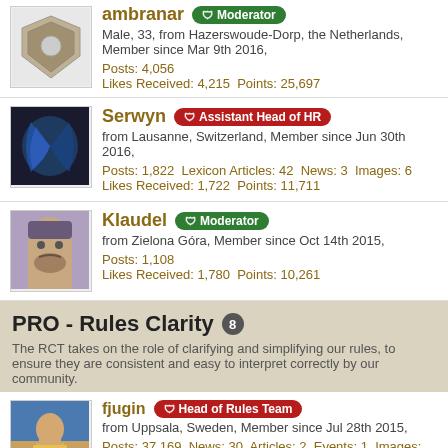[Figure (photo): User avatar for ambranar]
ambranar Moderator
Male, 33, from Hazerswoude-Dorp, the Netherlands, Member since Mar 9th 2016,
Posts: 4,056
Likes Received: 4,215  Points: 25,697
[Figure (photo): User avatar for Serwyn]
Serwyn Assistant Head of HR
from Lausanne, Switzerland, Member since Jun 30th 2016,
Posts: 1,822  Lexicon Articles: 42  News: 3  Images: 6
Likes Received: 1,722  Points: 11,711
[Figure (photo): User avatar for Klaudel]
Klaudel Moderator
from Zielona Góra, Member since Oct 14th 2015,
Posts: 1,108
Likes Received: 1,780  Points: 10,261
PRO - Rules Clarity 8
The RCT takes on the role of clarifying and simplifying our rules, to ensure they are consistent and easy to interpret correctly by our community.
[Figure (photo): User avatar for fjugin]
fjugin Head of Rules Team
from Uppsala, Sweden, Member since Jul 28th 2015,
Posts: 37,169  News: 30  Articles: 2  Events: 1  Images: 69
Likes Received: 22,582  Points: 158,739
[Figure (photo): User avatar for Veil of the Ages (black background with white M logo)]
Veil of the Ages Vacation